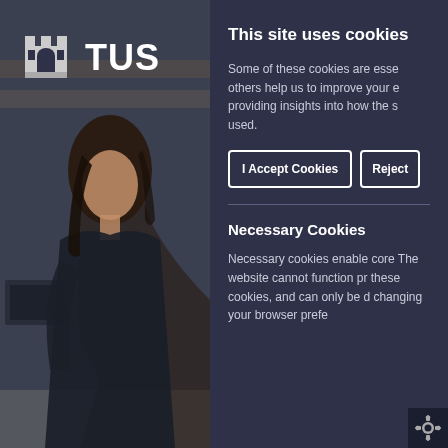[Figure (photo): TUS university logo (castle icon and TUS text) overlaid on a photo of a female student working at a computer in a library/office setting]
This site uses cookies
Some of these cookies are esse others help us to improve your e providing insights into how the s used.
I Accept Cookies | Reject
Necessary Cookies
Necessary cookies enable core The website cannot function pr these cookies, and can only be d changing your browser prefe